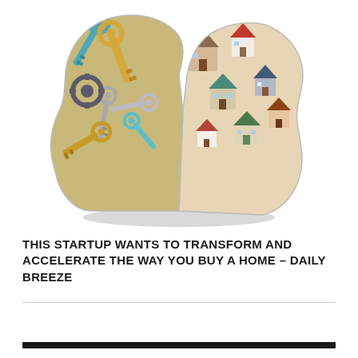[Figure (illustration): An artistic illustration of two human head silhouettes facing outward from center. The left head is filled with a jumble of various keys (house keys, car keys) in gold, silver, and teal colors. The right head is filled with a jumble of miniature 3D house models in various colors. The image is on a white background.]
THIS STARTUP WANTS TO TRANSFORM AND ACCELERATE THE WAY YOU BUY A HOME – DAILY BREEZE